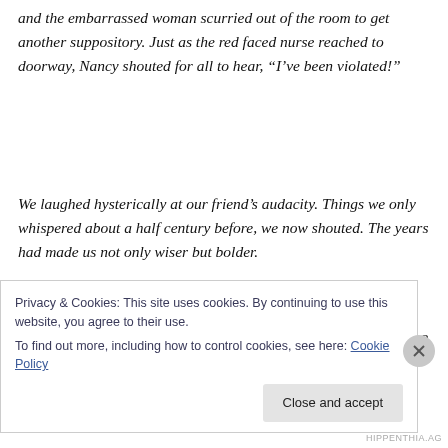and the embarrassed woman scurried out of the room to get another suppository. Just as the red faced nurse reached to doorway, Nancy shouted for all to hear, “I’ve been violated!”
We laughed hysterically at our friend’s audacity. Things we only whispered about a half century before, we now shouted. The years had made us not only wiser but bolder.
What has happened to the three of us during the last half century?
[Figure (screenshot): Cookie consent banner overlay. Text reads: 'Privacy & Cookies: This site uses cookies. By continuing to use this website, you agree to their use. To find out more, including how to control cookies, see here: Cookie Policy'. A 'Close and accept' button appears at the bottom right. A circular X close button appears on the right side.]
HIPPENTHIA.AG